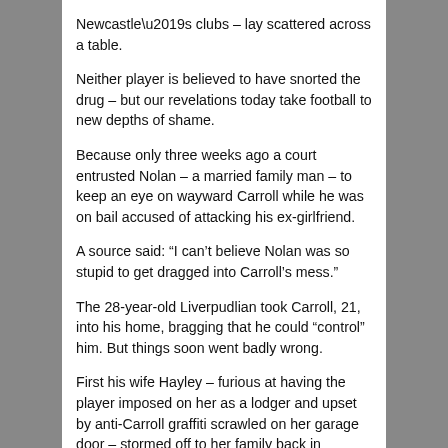Newcastle's clubs – lay scattered across a table.
Neither player is believed to have snorted the drug – but our revelations today take football to new depths of shame.
Because only three weeks ago a court entrusted Nolan – a married family man – to keep an eye on wayward Carroll while he was on bail accused of attacking his ex-girlfriend.
A source said: “I can’t believe Nolan was so stupid to get dragged into Carroll’s mess.”
The 28-year-old Liverpudlian took Carroll, 21, into his home, bragging that he could “control” him. But things soon went badly wrong.
First his wife Hayley – furious at having the player imposed on her as a lodger and upset by anti-Carroll graffiti scrawled on her garage door – stormed off to her family back in Liverpool with their two children.